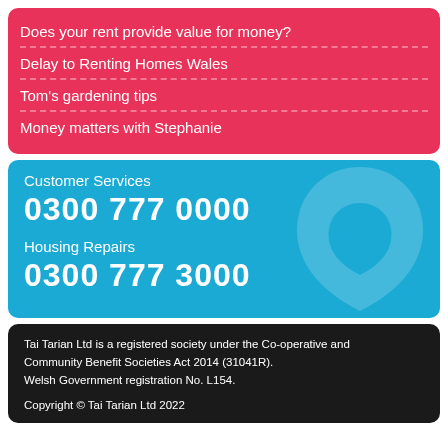Does your rent provide value for money?
Delay to Renting Homes Wales
Tom's gardening tips
Money matters with Stephanie
Customer Services
0300 777 0000
Housing Repairs
0300 777 3000
Tai Tarian Ltd is a registered society under the Co-operative and Community Benefit Societies Act 2014 (31041R).
Welsh Government registration No. L154.
Copyright © Tai Tarian Ltd 2022